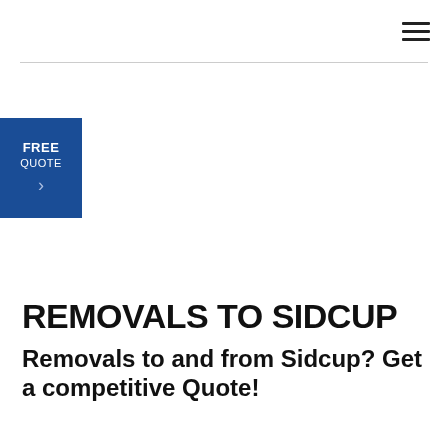≡
[Figure (other): Blue FREE QUOTE button with right arrow chevron, positioned at left edge of page]
REMOVALS TO SIDCUP
Removals to and from Sidcup? Get a competitive Quote!